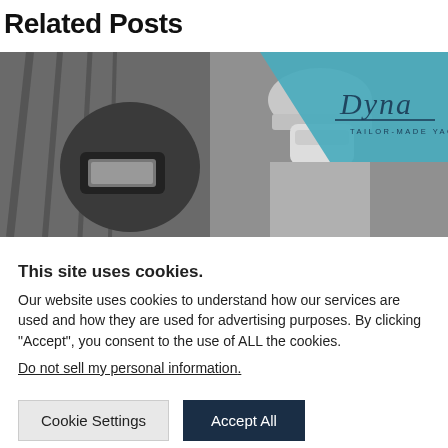Related Posts
[Figure (photo): Black and white photo of a welder wearing a welding mask and a person in a hard hat and face mask, with a blue diagonal banner overlay showing the Dyna Tailor-Made Yachts logo]
This site uses cookies.
Our website uses cookies to understand how our services are used and how they are used for advertising purposes. By clicking "Accept", you consent to the use of ALL the cookies.
Do not sell my personal information.
Cookie Settings | Accept All